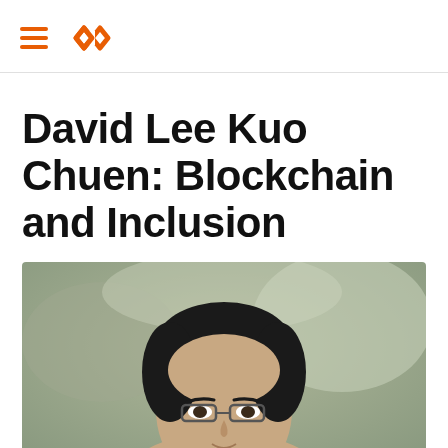≡ [logo]
David Lee Kuo Chuen: Blockchain and Inclusion
[Figure (photo): Portrait photo of David Lee Kuo Chuen, a man with dark hair and glasses, photographed against a blurred outdoor background.]